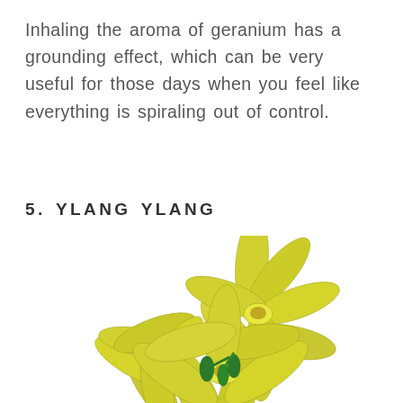Inhaling the aroma of geranium has a grounding effect, which can be very useful for those days when you feel like everything is spiraling out of control.
5. YLANG YLANG
[Figure (photo): A cluster of yellow ylang ylang flowers with long narrow petals and small green leaves, photographed on a white background.]